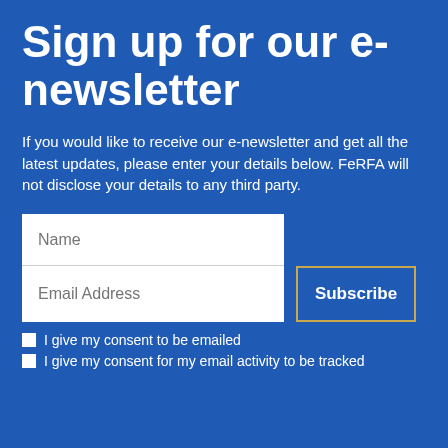Sign up for our e-newsletter
If you would like to receive our e-newsletter and get all the latest updates, please enter your details below. FeRFA will not disclose your details to any third party.
Name (input field)
Email Address (input field)
Subscribe (button)
I give my consent to be emailed
I give my consent for my email activity to be tracked